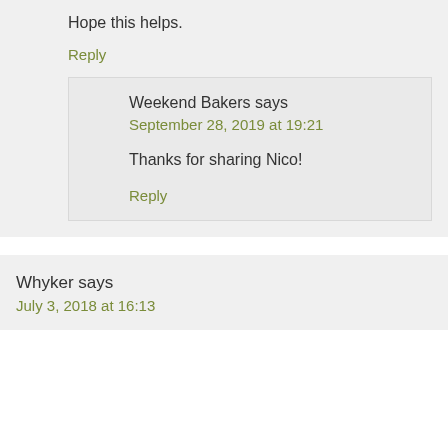Hope this helps.
Reply
Weekend Bakers says
September 28, 2019 at 19:21
Thanks for sharing Nico!
Reply
Whyker says
July 3, 2018 at 16:13